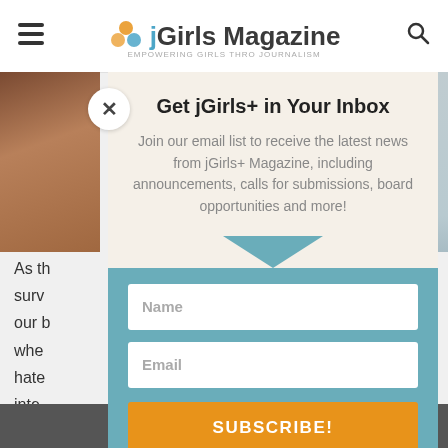jGirls Magazine
[Figure (screenshot): Modal popup overlay on jGirls Magazine website with email subscription form. Contains title 'Get jGirls+ in Your Inbox', descriptive text, Name input, Email input, and SUBSCRIBE! button. Background shows article text and images.]
Get jGirls+ in Your Inbox
Join our email list to receive the latest news from jGirls+ Magazine, including announcements, calls for submissions, board opportunities and more!
Share This